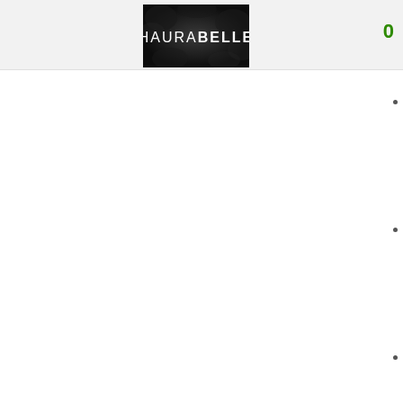[Figure (logo): Haurabelle brand logo — white text 'HAURABELLE' on a dark floral/rose textured black background]
0